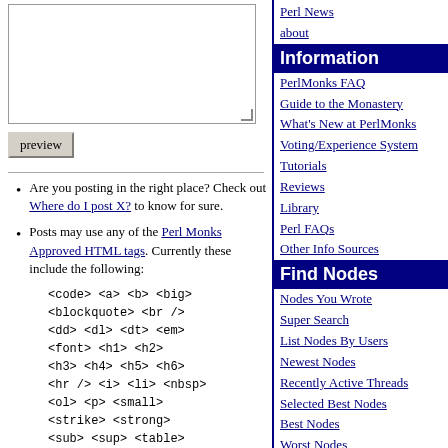[Figure (other): Textarea input box with resize handle]
preview (button)
Are you posting in the right place? Check out Where do I post X? to know for sure.
Posts may use any of the Perl Monks Approved HTML tags. Currently these include the following:
<code> <a> <b> <big> <blockquote> <br /> <dd> <dl> <dt> <em> <font> <h1> <h2> <h3> <h4> <h5> <h6> <hr /> <i> <li> <nbsp> <ol> <p> <small> <strike> <strong> <sub> <sup> <table> <td> <th> <tr> <tt> <u> <ul>
Information
PerlMonks FAQ
Guide to the Monastery
What's New at PerlMonks
Voting/Experience System
Tutorials
Reviews
Library
Perl FAQs
Other Info Sources
Find Nodes
Nodes You Wrote
Super Search
List Nodes By Users
Newest Nodes
Recently Active Threads
Selected Best Nodes
Best Nodes
Worst Nodes
Saints in our Book
Leftovers
The St. Larry Wall Shrine
Buy PerlMonks Gear
Offering Plate
Awards
Random Node